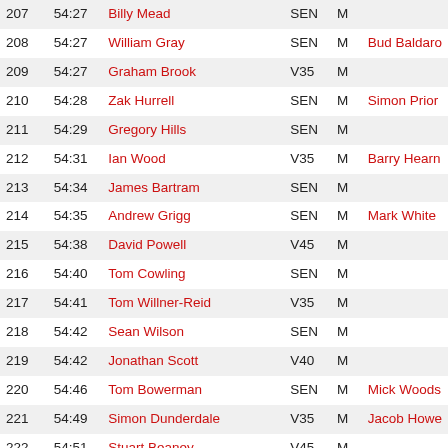| Pos | Time | Name | Cat | Gen | Club |
| --- | --- | --- | --- | --- | --- |
| 207 | 54:27 | Billy Mead | SEN | M |  |
| 208 | 54:27 | William Gray | SEN | M | Bud Baldaro |
| 209 | 54:27 | Graham Brook | V35 | M |  |
| 210 | 54:28 | Zak Hurrell | SEN | M | Simon Prior |
| 211 | 54:29 | Gregory Hills | SEN | M |  |
| 212 | 54:31 | Ian Wood | V35 | M | Barry Hearn |
| 213 | 54:34 | James Bartram | SEN | M |  |
| 214 | 54:35 | Andrew Grigg | SEN | M | Mark White |
| 215 | 54:38 | David Powell | V45 | M |  |
| 216 | 54:40 | Tom Cowling | SEN | M |  |
| 217 | 54:41 | Tom Willner-Reid | V35 | M |  |
| 218 | 54:42 | Sean Wilson | SEN | M |  |
| 219 | 54:42 | Jonathan Scott | V40 | M |  |
| 220 | 54:46 | Tom Bowerman | SEN | M | Mick Woods |
| 221 | 54:49 | Simon Dunderdale | V35 | M | Jacob Howe |
| 222 | 54:51 | Stuart Beaney | V45 | M |  |
| 223 | 54:53 | Gordon Pearce | SEN | M |  |
| 224 | 54:54 | Andrew Parmenter | V40 | M | Mark Vile |
| 225 | 54:55 | Tom Desborough | U23 | M | David Liston |
| 226 | 54:56 | Michael Hughes | SEN | M |  |
| 227 | 54:58 | Ryan Faulkner | SEN | M |  |
| 228 | 54:58 | Tyrone Farrer | V45 | M |  |
| 229 | 54:59 | Chris Riddle | V35 | M |  |